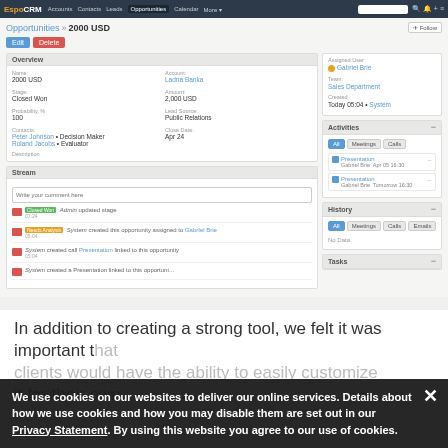[Figure (screenshot): Screenshot of EspoCRM application showing an Opportunities record '2000 USD' with Overview panel (Name, Account, Stage, Amount, Probability, Lead Source, Contacts, Close Date, Description), Stream panel with comments and activity log, and right-side panels for Assigned User, Activities, History, and Tasks.]
In addition to creating a strong tool, we felt it was important that clients would have the ability to easily customize it for their own… through a solid ol
We use cookies on our websites to deliver our online services. Details about how we use cookies and how you may disable them are set out in our Privacy Statement. By using this website you agree to our use of cookies.